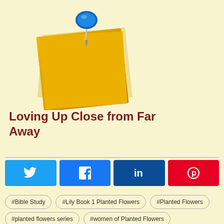[Figure (illustration): A yellow sticky note pinned with a blue pushpin tack, slightly angled, on a light yellow background.]
Loving Up Close from Far Away
[Figure (infographic): Four social share buttons in a row: Twitter (light blue), Facebook (blue), LinkedIn (dark blue), Pinterest (red), each with their respective icons.]
#Bible Study
#Lily Book 1 Planted Flowers
#Planted Flowers
#planted flowers series
#women of Planted Flowers
#women's bible study